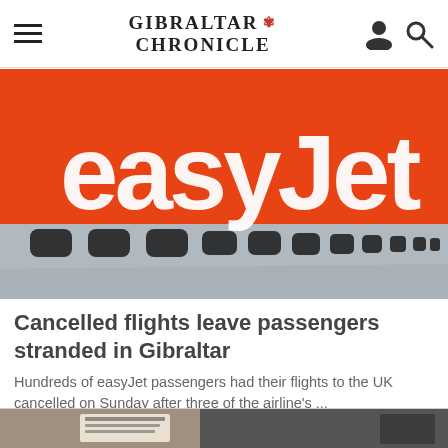GIBRALTAR CHRONICLE
[Figure (photo): Close-up photo of an easyJet orange airplane fuselage showing the easyJet logo in white lettering and several oval aircraft windows against a grey sky background.]
Cancelled flights leave passengers stranded in Gibraltar
Hundreds of easyJet passengers had their flights to the UK cancelled on Sunday after three of the airline's ...
Gibraltar Chronicle
[Figure (photo): Partially visible photo at the bottom of the page, appears to show a person holding newspapers or magazines.]